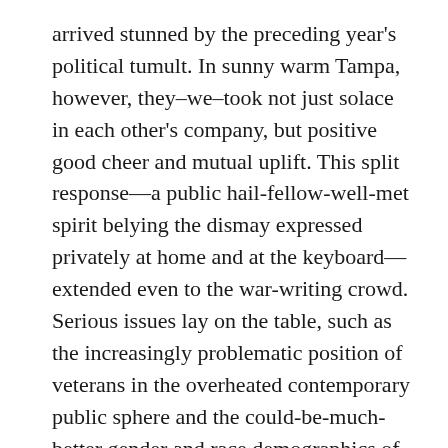arrived stunned by the preceding year's political tumult. In sunny warm Tampa, however, they–we–took not just solace in each other's company, but positive good cheer and mutual uplift. This split response—a public hail-fellow-well-met spirit belying the dismay expressed privately at home and at the keyboard—extended even to the war-writing crowd. Serious issues lay on the table, such as the increasingly problematic position of veterans in the overheated contemporary public sphere and the could-be-much-better gender and race demographics of modern war-writing. But those heavy-duty matters took a backseat to catching up with old friends and meeting new ones.